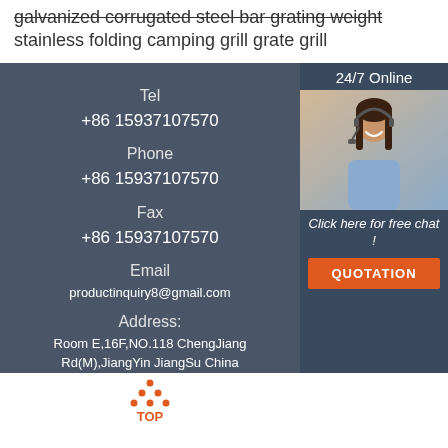galvanized corrugated steel bar grating weight
stainless folding camping grill grate grill
Tel
+86 15937107570
Phone
+86 15937107570
Fax
+86 15937107570
Email
productinquiry8@gmail.com
Address:
Room E,16F,NO.118 ChengJiang Rd(M),JiangYin JiangSu China
[Figure (photo): Customer service agent woman with headset smiling, 24/7 Online banner, Click here for free chat text, QUOTATION button in orange]
[Figure (illustration): TOP icon with orange dots forming triangle above orange TOP text]